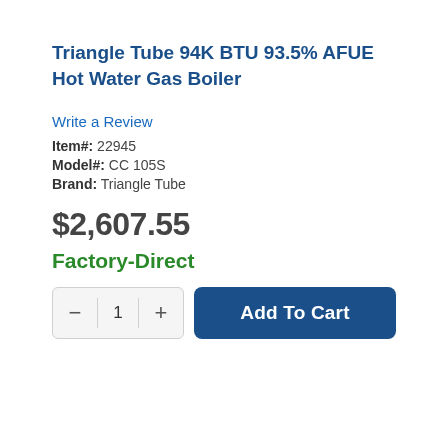Triangle Tube 94K BTU 93.5% AFUE Hot Water Gas Boiler
Write a Review
Item#: 22945
Model#: CC 105S
Brand: Triangle Tube
$2,607.55
Factory-Direct
Add To Cart